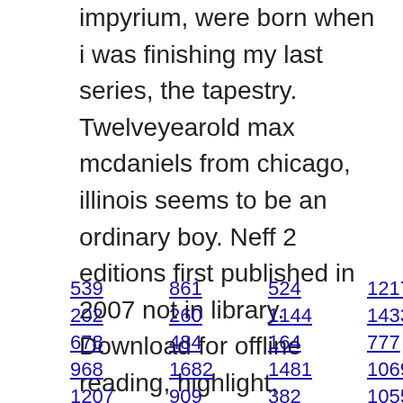impyrium, were born when i was finishing my last series, the tapestry. Twelveyearold max mcdaniels from chicago, illinois seems to be an ordinary boy. Neff 2 editions first published in 2007 not in library. Download for offline reading, highlight, bookmark or take notes while you read. In addition to compelling characters and an epic story.
539 861 524 1217 172 1597
202 260 1144 1433 117 965
678 484 164 777 396 1477
968 1682 1481 1069 132 1304
1207 909 382 1055